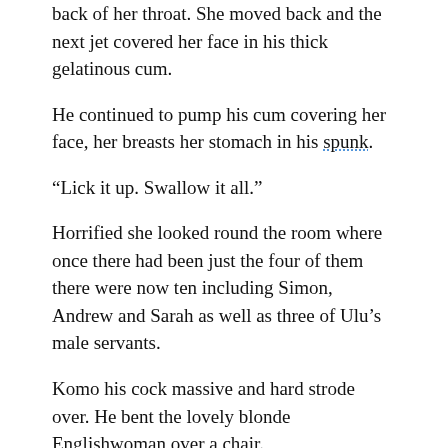back of her throat. She moved back and the next jet covered her face in his thick gelatinous cum.
He continued to pump his cum covering her face, her breasts her stomach in his spunk.
“Lick it up. Swallow it all.”
Horrified she looked round the room where once there had been just the four of them there were now ten including Simon, Andrew and Sarah as well as three of Ulu’s male servants.
Komo his cock massive and hard strode over. He bent the lovely blonde Englishwoman over a chair.
“You’re going to feel what a big cock is really like and how much better it is than some pathetic white dick.”
“Please don’t.” She mumbled.